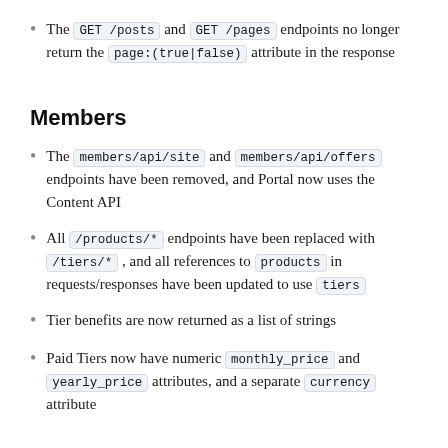The GET /posts and GET /pages endpoints no longer return the page:(true|false) attribute in the response
Members
The members/api/site and members/api/offers endpoints have been removed, and Portal now uses the Content API
All /products/* endpoints have been replaced with /tiers/* , and all references to products in requests/responses have been updated to use tiers
Tier benefits are now returned as a list of strings
Paid Tiers now have numeric monthly_price and yearly_price attributes, and a separate currency attribute